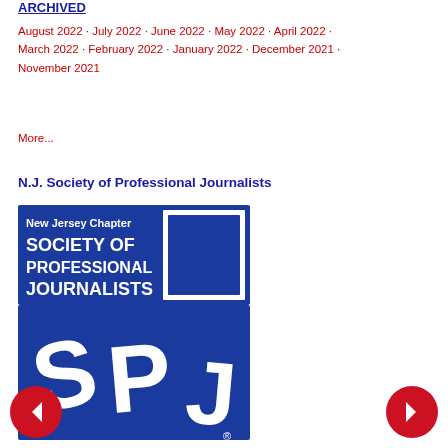ARCHIVED
August 2022 · July 2022 · June 2022 · May 2022 · April 2022 · March 2022 · February 2022 · January 2022 · December 2021 · November 2021
More...
N.J. Society of Professional Journalists
[Figure (logo): New Jersey Chapter Society of Professional Journalists (SPJ) logo — blue rectangle with white text reading 'New Jersey Chapter SOCIETY OF PROFESSIONAL JOURNALISTS' and large white SPJ letters on blue background with registered trademark symbol]